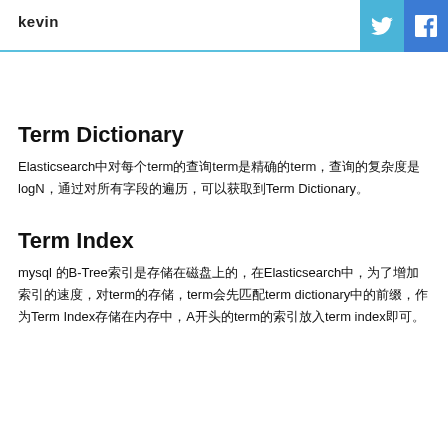kevin
Term Dictionary
Elasticsearch中对每个term的查询term是精确的term，查询的复杂度是logN，通过对所有字段的遍历，可以获取到Term Dictionary。
Term Index
mysql 的B-Tree索引是存储在磁盘上的，在Elasticsearch中，为了增加索引的速度，对term的存储，term会先匹配term dictionary中的前缀，作为Term Index存储在内存中，A开头的term的索引放入term index即可。